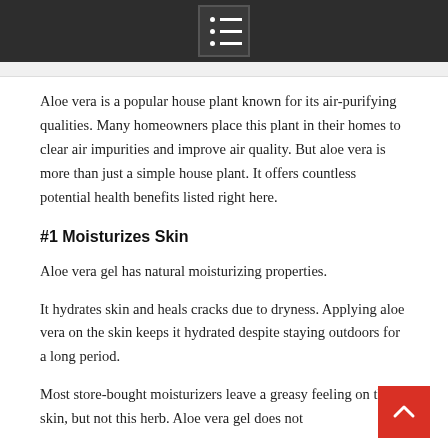Aloe vera is a popular house plant known for its air-purifying qualities. Many homeowners place this plant in their homes to clear air impurities and improve air quality. But aloe vera is more than just a simple house plant. It offers countless potential health benefits listed right here.
#1 Moisturizes Skin
Aloe vera gel has natural moisturizing properties.
It hydrates skin and heals cracks due to dryness. Applying aloe vera on the skin keeps it hydrated despite staying outdoors for a long period.
Most store-bought moisturizers leave a greasy feeling on the skin, but not this herb. Aloe vera gel does not